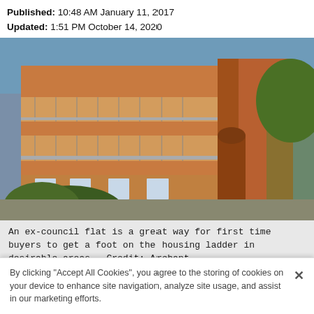Published: 10:48 AM January 11, 2017
Updated: 1:51 PM October 14, 2020
[Figure (photo): Exterior photo of a multi-storey brick apartment/council flat building with balconies, blue sky visible, trees in foreground]
An ex-council flat is a great way for first time buyers to get a foot on the housing ladder in desirable areas - Credit: Archant
To offer affordable options for first time buyers...
By clicking "Accept All Cookies", you agree to the storing of cookies on your device to enhance site navigation, analyze site usage, and assist in our marketing efforts.